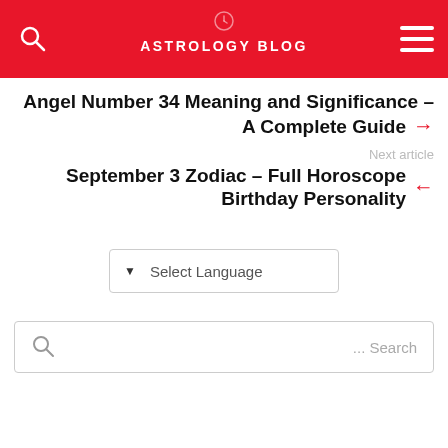ASTROLOGY BLOG
Angel Number 34 Meaning and Significance – A Complete Guide
Next article
September 3 Zodiac – Full Horoscope Birthday Personality
Select Language
... Search